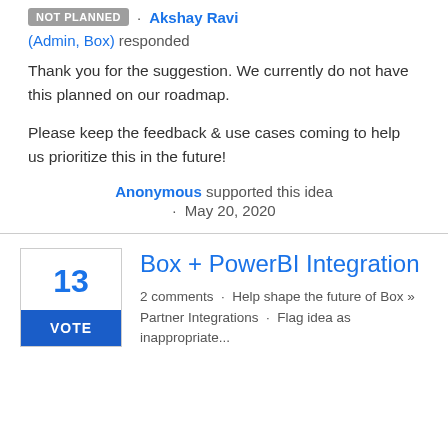NOT PLANNED · Akshay Ravi (Admin, Box) responded
Thank you for the suggestion. We currently do not have this planned on our roadmap.
Please keep the feedback & use cases coming to help us prioritize this in the future!
Anonymous supported this idea · May 20, 2020
13 VOTE
Box + PowerBI Integration
2 comments · Help shape the future of Box » Partner Integrations · Flag idea as inappropriate...